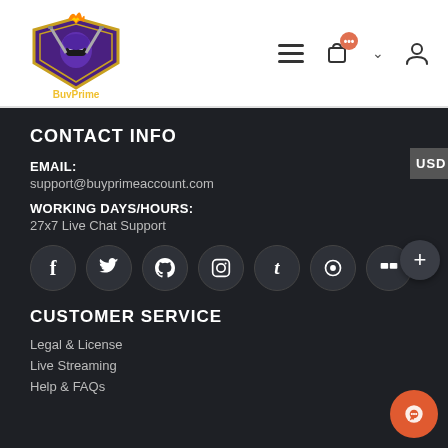[Figure (logo): BuyPrime Account logo — purple ninja character with flame above a shield, text 'BuyPrime Account' below]
CONTACT INFO
EMAIL:
support@buyprimeaccount.com
WORKING DAYS/HOURS:
27x7 Live Chat Support
[Figure (infographic): Row of 7 social media icon circles: Facebook (f), Twitter, Pinterest, Instagram, Tumblr, Reddit, Flickr]
CUSTOMER SERVICE
Legal & License
Live Streaming
Help & FAQs